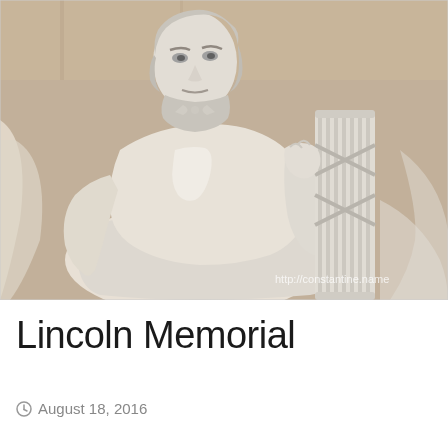[Figure (photo): Photograph of the Lincoln Memorial statue — a large white marble seated figure of Abraham Lincoln, gripping an armrest shaped like a fasces column, set against a tan/beige wall background. Watermark text 'http://constantine.name' appears in lower right corner of the image.]
Lincoln Memorial
August 18, 2016